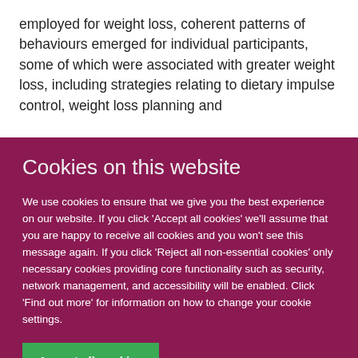employed for weight loss, coherent patterns of behaviours emerged for individual participants, some of which were associated with greater weight loss, including strategies relating to dietary impulse control, weight loss planning and
Cookies on this website
We use cookies to ensure that we give you the best experience on our website. If you click 'Accept all cookies' we'll assume that you are happy to receive all cookies and you won't see this message again. If you click 'Reject all non-essential cookies' only necessary cookies providing core functionality such as security, network management, and accessibility will be enabled. Click 'Find out more' for information on how to change your cookie settings.
Accept all cookies
Reject all non-essential cookies
Find out more